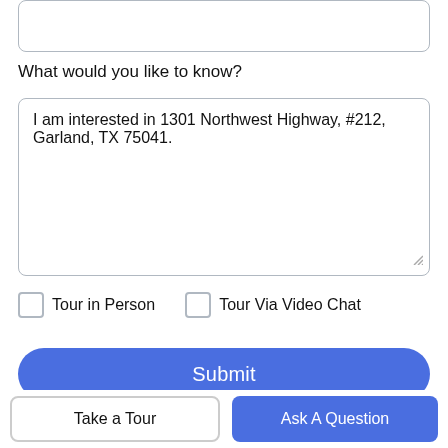What would you like to know?
I am interested in 1301 Northwest Highway, #212, Garland, TX 75041.
Tour in Person
Tour Via Video Chat
Submit
Disclaimer: By entering your information and submitting this form, you agree to our Terms of Use and Privacy Policy and that you may be contacted by
Take a Tour
Ask A Question